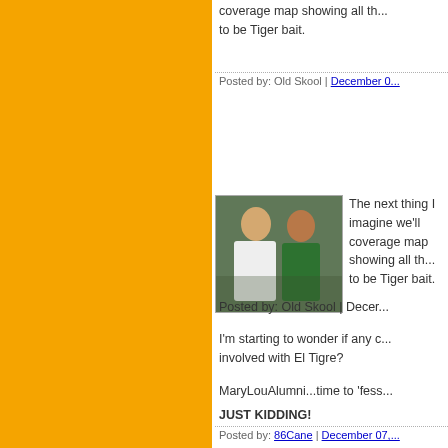coverage map showing all th... to be Tiger bait.
Posted by: Old Skool | December 0...
[Figure (photo): Avatar photo of two people]
The next thing I imagine we'll coverage map showing all th... to be Tiger bait.
Posted by: Old Skool | Decer...
I'm starting to wonder if any c... involved with El Tigre?
MaryLouAlumni...time to 'fess...
JUST KIDDING!
Posted by: 86Cane | December 07,...
[Figure (illustration): Abstract blue neural/network pattern avatar]
I wonder if he leaves little cla...
Who has the eye of the tiger...
Posted by: CaneSawMassacre | De...